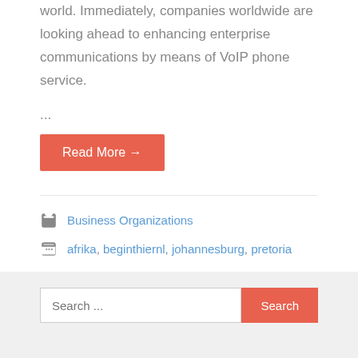world. Immediately, companies worldwide are looking ahead to enhancing enterprise communications by means of VoIP phone service.
...
Read More →
Business Organizations
afrika, beginthiernl, johannesburg, pretoria
Search ...